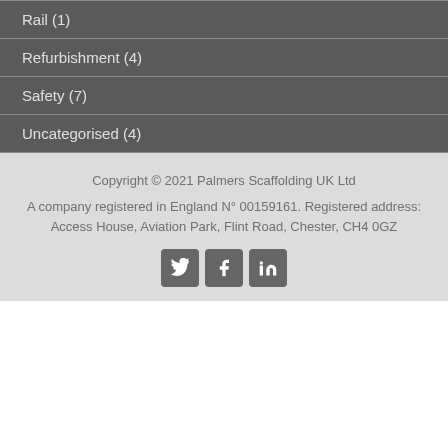Rail (1)
Refurbishment (4)
Safety (7)
Uncategorised (4)
Copyright © 2021 Palmers Scaffolding UK Ltd
A company registered in England N° 00159161. Registered address: Access House, Aviation Park, Flint Road, Chester, CH4 0GZ
[Figure (other): Social media icons: Twitter, Facebook, LinkedIn]